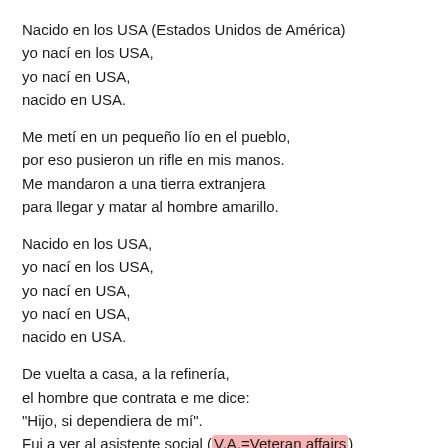Nacido en los USA (Estados Unidos de América)
yo nací en los USA,
yo nací en USA,
nacido en USA.
Me metí en un pequeño lío en el pueblo,
por eso pusieron un rifle en mis manos.
Me mandaron a una tierra extranjera
para llegar y matar al hombre amarillo.
Nacido en los USA,
yo nací en los USA,
yo nací en USA,
yo nací en USA,
nacido en USA.
De vuelta a casa, a la refinería,
el hombre que contrata e me dice:
"Hijo, si dependiera de mí".
Fui a ver al asistente social (V.A.=Veteran affairs)
Me dijo: "Hijo, ¿no lo entiendes?".
Tuve un hermano en Khe Sahn (batalla en Vietnam)
luchando contra el Viet Cong.
El era...